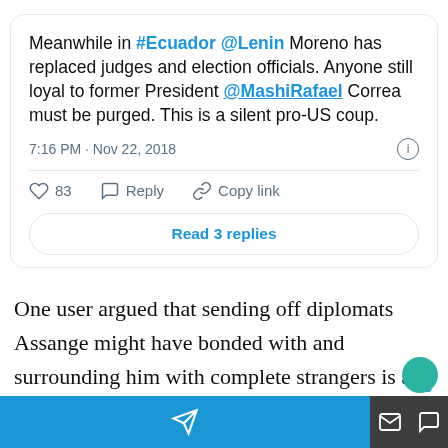[Figure (screenshot): Tweet card screenshot: 'Meanwhile in #Ecuador @Lenin Moreno has replaced judges and election officials. Anyone still loyal to former President @MashiRafael Correa must be purged. This is a silent pro-US coup.' posted at 7:16 PM · Nov 22, 2018. 83 likes, Reply, Copy link. Read 3 replies button.]
One user argued that sending off diplomats Assange might have bonded with and surrounding him with complete strangers is a form of “psychological torture.”